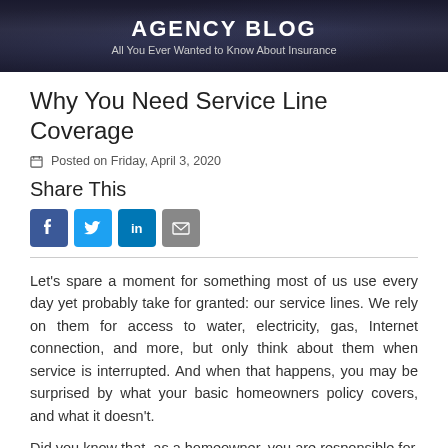AGENCY BLOG
All You Ever Wanted to Know About Insurance
Why You Need Service Line Coverage
Posted on Friday, April 3, 2020
Share This
[Figure (other): Social sharing icons: Facebook, Twitter, LinkedIn, Email]
Let's spare a moment for something most of us use every day yet probably take for granted: our service lines. We rely on them for access to water, electricity, gas, Internet connection, and more, but only think about them when service is interrupted. And when that happens, you may be surprised by what your basic homeowners policy covers, and what it doesn't.
Did you know that, as a homeowner, you are responsible for